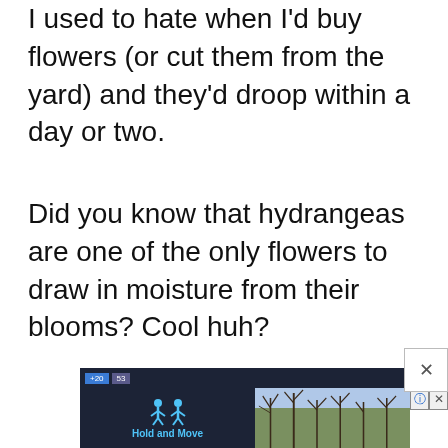I used to hate when I'd buy flowers (or cut them from the yard) and they'd droop within a day or two.
Did you know that hydrangeas are one of the only flowers to draw in moisture from their blooms? Cool huh?
[Figure (screenshot): Advertisement area at bottom showing a dark-themed app interface with 'Hold and Move' label and blue figure icons, alongside a photo of bare winter trees, with close/question mark control buttons]